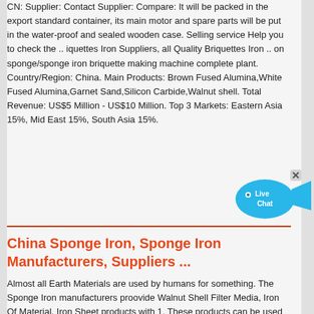CN: Supplier: Contact Supplier: Compare: It will be packed in the export standard container, its main motor and spare parts will be put in the water-proof and sealed wooden case. Selling service Help you to check the .. iquettes Iron Suppliers, all Quality Briquettes Iron .. on sponge/sponge iron briquette making machine complete plant. Country/Region: China. Main Products: Brown Fused Alumina,White Fused Alumina,Garnet Sand,Silicon Carbide,Walnut shell. Total Revenue: US$5 Million - US$10 Million. Top 3 Markets: Eastern Asia 15%, Mid East 15%, South Asia 15%.
[Figure (other): Live Chat button widget - blue speech bubble with a fish shape, showing 'Live Chat' text in white]
China Sponge Iron, Sponge Iron Manufacturers, Suppliers ...
Almost all Earth Materials are used by humans for something. The Sponge Iron manufacturers proovide Walnut Shell Filter Media, Iron Of Material, Iron Sheet products with 1. These products can be used for different uses such as making machines, making roads and buildings, or making computer chips and concrete, ceramics,Amazon : Sanding Sponges - Sanding Sponges / …ADVcer 500-2000 Grit Sanding Sponge 8 Pads, 4.5" x 5.5" x 0.2" Assorted Wet or Dry Ultra